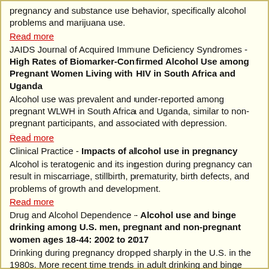pregnancy and substance use behavior, specifically alcohol problems and marijuana use.
Read more
JAIDS Journal of Acquired Immune Deficiency Syndromes - High Rates of Biomarker-Confirmed Alcohol Use among Pregnant Women Living with HIV in South Africa and Uganda
Alcohol use was prevalent and under-reported among pregnant WLWH in South Africa and Uganda, similar to non-pregnant participants, and associated with depression.
Read more
Clinical Practice - Impacts of alcohol use in pregnancy
Alcohol is teratogenic and its ingestion during pregnancy can result in miscarriage, stillbirth, prematurity, birth defects, and problems of growth and development.
Read more
Drug and Alcohol Dependence - Alcohol use and binge drinking among U.S. men, pregnant and non-pregnant women ages 18-44: 2002 to 2017
Drinking during pregnancy dropped sharply in the U.S. in the 1980s. More recent time trends in adult drinking and binge drinking in men, non-pregnant and pregnant women have not been studied as thoroughly.